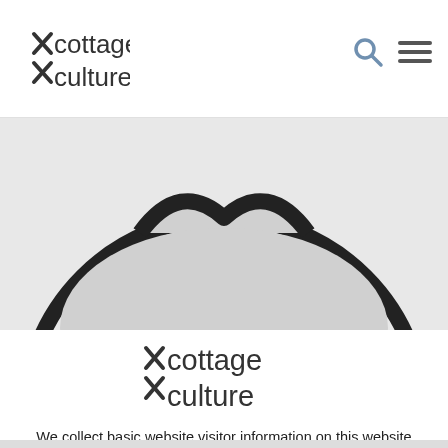cottage culture — header with logo, search and menu icons
[Figure (illustration): Partial view of a large circle outline with a cookie icon silhouette inside, on a light gray background]
[Figure (logo): Cottage Culture logo — large centered version]
We collect basic website visitor information on this website and store it in cookies. We also utilize Google Analytics to track page view information to assist us in improving our website.
I accept.
CONTINUE